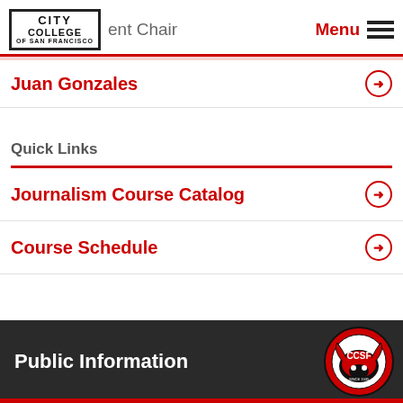City College of San Francisco — Department Chair | Menu
Juan Gonzales
Quick Links
Journalism Course Catalog
Course Schedule
Public Information
[Figure (logo): CCSF ram mascot logo in red, black and white]